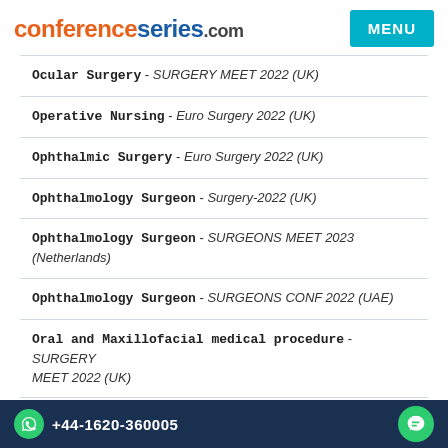conferenceseries.com
Ocular Surgery - SURGERY MEET 2022 (UK)
Operative Nursing - Euro Surgery 2022 (UK)
Ophthalmic Surgery - Euro Surgery 2022 (UK)
Ophthalmology Surgeon - Surgery-2022 (UK)
Ophthalmology Surgeon - SURGEONS MEET 2023 (Netherlands)
Ophthalmology Surgeon - SURGEONS CONF 2022 (UAE)
Oral and Maxillofacial medical procedure - SURGERY MEET 2022 (UK)
Oral and Maxillofacial medical procedure - SURGERY
+44-1620-360005